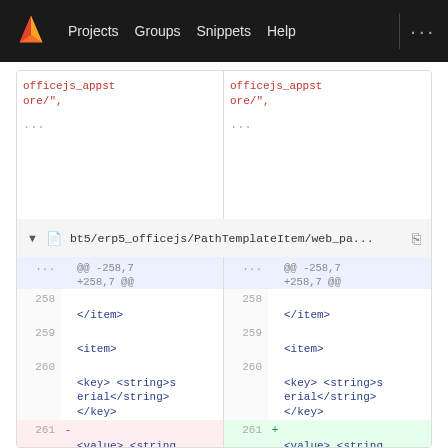Projects  Groups  Snippets  Help  ...
[Figure (screenshot): GitLab diff view showing file bt5/erp5_officejs/PathTemplateItem/web_pa... with code changes. Top section shows partial diff with officejs_appstore/ in red on both sides with ellipsis. Main diff shows lines 258-261 with XML content: </item>, <item>, <key><string>serial</string></key>, and line 261 showing deleted value <value><string>989.27524.31537.13687</string></value> on left (red) and added value <value><string>992.64248.47613.22510</string></value> on right (green).]